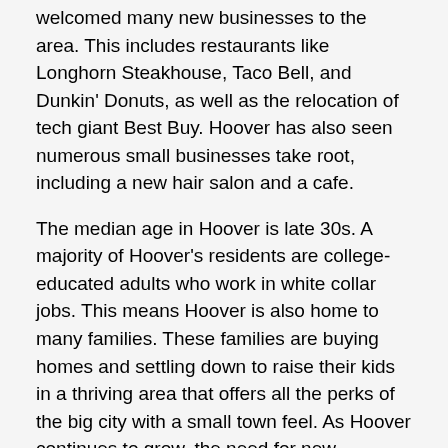welcomed many new businesses to the area. This includes restaurants like Longhorn Steakhouse, Taco Bell, and Dunkin' Donuts, as well as the relocation of tech giant Best Buy. Hoover has also seen numerous small businesses take root, including a new hair salon and a cafe.
The median age in Hoover is late 30s. A majority of Hoover's residents are college-educated adults who work in white collar jobs. This means Hoover is also home to many families. These families are buying homes and settling down to raise their kids in a thriving area that offers all the perks of the big city with a small town feel. As Hoover continues to grow, the need for new construction increases. That's why over a thousand permits for new single family homes were granted in the last 12 months.
Families want to live in Hoover for many reasons, including its numerous parks and trails for exploring the outdoors. Moss Rock Preserve and Aldridge Gardens are